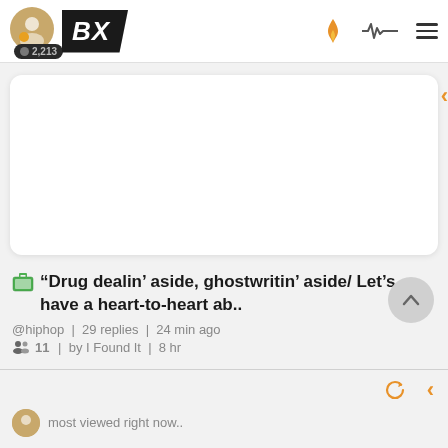BX 2,213
[Figure (screenshot): White card placeholder area, empty content region]
“Drug dealin’ aside, ghostwritin’ aside/ Let’s have a heart-to-heart ab..
@hiphop | 29 replies | 24 min ago
11 | by I Found It | 8 hr
most viewed right now..